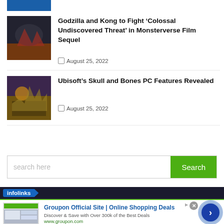[Figure (photo): Partial blue banner image at top]
[Figure (photo): Godzilla and Kong fight scene thumbnail]
Godzilla and Kong to Fight ‘Colossal Undiscovered Threat’ in Monsterverse Film Sequel
August 25, 2022
[Figure (photo): Ubisoft Skull and Bones game art thumbnail]
Ubisoft’s Skull and Bones PC Features Revealed
August 25, 2022
search here
[Figure (screenshot): Infolinks ad bar with Groupon advertisement showing Groupon Official Site | Online Shopping Deals, Discover & Save with Over 300k of the Best Deals, www.groupon.com]